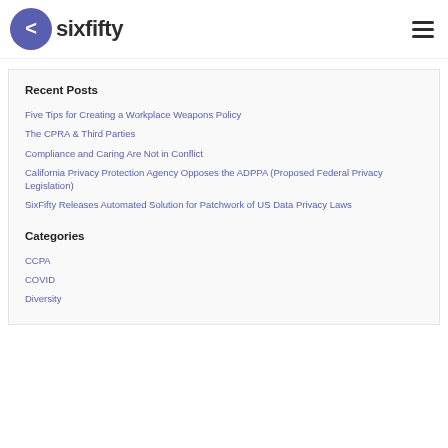sixfifty
Recent Posts
Five Tips for Creating a Workplace Weapons Policy
The CPRA & Third Parties
Compliance and Caring Are Not in Conflict
California Privacy Protection Agency Opposes the ADPPA (Proposed Federal Privacy Legislation)
SixFifty Releases Automated Solution for Patchwork of US Data Privacy Laws
Categories
CCPA
COVID
Diversity